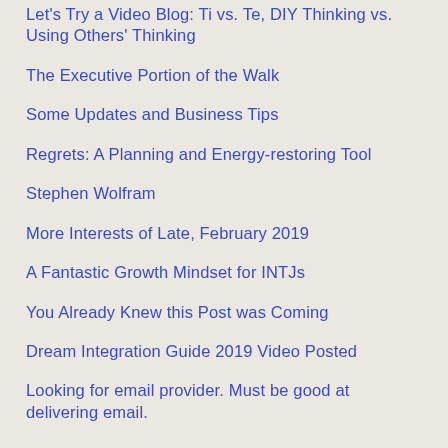Let's Try a Video Blog: Ti vs. Te, DIY Thinking vs. Using Others' Thinking
The Executive Portion of the Walk
Some Updates and Business Tips
Regrets: A Planning and Energy-restoring Tool
Stephen Wolfram
More Interests of Late, February 2019
A Fantastic Growth Mindset for INTJs
You Already Knew this Post was Coming
Dream Integration Guide 2019 Video Posted
Looking for email provider. Must be good at delivering email.